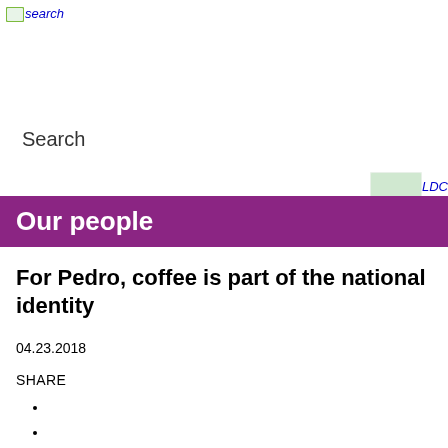search
Search
[Figure (logo): LDC logo in top right corner]
Our people
For Pedro, coffee is part of the national identity
04.23.2018
SHARE